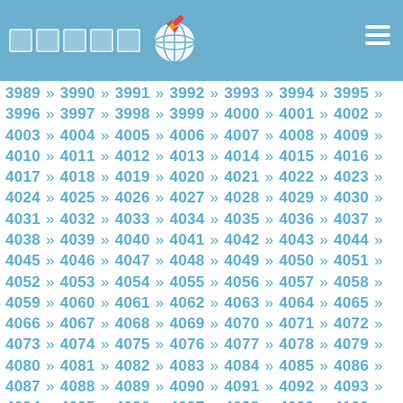Navigation header with logo and menu icon
3989 » 3990 » 3991 » 3992 » 3993 » 3994 » 3995 » 3996 » 3997 » 3998 » 3999 » 4000 » 4001 » 4002 » 4003 » 4004 » 4005 » 4006 » 4007 » 4008 » 4009 » 4010 » 4011 » 4012 » 4013 » 4014 » 4015 » 4016 » 4017 » 4018 » 4019 » 4020 » 4021 » 4022 » 4023 » 4024 » 4025 » 4026 » 4027 » 4028 » 4029 » 4030 » 4031 » 4032 » 4033 » 4034 » 4035 » 4036 » 4037 » 4038 » 4039 » 4040 » 4041 » 4042 » 4043 » 4044 » 4045 » 4046 » 4047 » 4048 » 4049 » 4050 » 4051 » 4052 » 4053 » 4054 » 4055 » 4056 » 4057 » 4058 » 4059 » 4060 » 4061 » 4062 » 4063 » 4064 » 4065 » 4066 » 4067 » 4068 » 4069 » 4070 » 4071 » 4072 » 4073 » 4074 » 4075 » 4076 » 4077 » 4078 » 4079 » 4080 » 4081 » 4082 » 4083 » 4084 » 4085 » 4086 » 4087 » 4088 » 4089 » 4090 » 4091 » 4092 » 4093 » 4094 » 4095 » 4096 » 4097 » 4098 » 4099 » 4100 » 4101 » 4102 » 4103 » 4104 » 4105 » 4106 » 4107 » 4108 » 4109 » 4110 » 4111 » 4112 » 4113 » 4114 » 4115 » 4116 » 4117 » 4118 » 4119 » 4120 » 4121 » 4122 » 4123 » 4124 » 4125 » 4126 » 4127 » 4128 » 4129 » 4130 » 4131 » 4132 » 4133 » 4134 » 4135 » 4136 » 4137 » 4138 » 4139 » 4140 » 4141 » 4142 » 4143 » 4144 » 4145 » 4146 » 4147 » 4148 » 4149 » 4150 » 4151 » 4152 » 4153 » 4154 » 4155 » 4156 » 4157 » 4158 » 4159 » 4160 » 4161 » 4162 » 4163 » 4164 » 4165 » 4166 » 4167 » 4168 » 4169 » 4170 » 4171 » 4172 » 4173 » 4174 » 4175 » 4176 » 4177